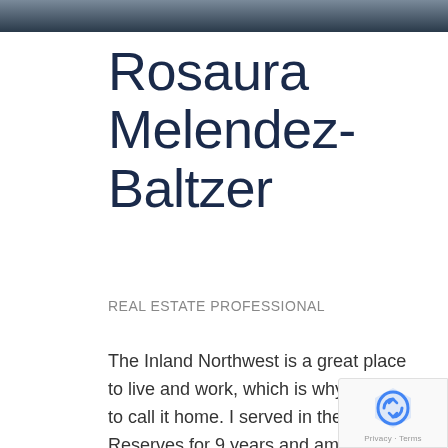[Figure (photo): Cropped photo strip showing partial view of a person, dark background]
Rosaura Melendez-Baltzer
REAL ESTATE PROFESSIONAL
The Inland Northwest is a great place to live and work, which is why I choose to call it home. I served in the Army Reserves for 9 years and am a wife and mother of two beautiful children. I was raised in Huntington Beach, California, but after visiting my in-laws in Coeur d'Alene, I fell in love